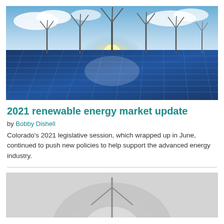[Figure (photo): Wind turbines standing behind a large array of solar panels with bright sunlight and blue sky with clouds in the background.]
2021 renewable energy market update
by Bobby Dishell
Colorado's 2021 legislative session, which wrapped up in June, continued to push new policies to help support the advanced energy industry.
[Figure (photo): Partial view of a second image, appears to show a wind turbine or energy-related infographic on a light grey background.]